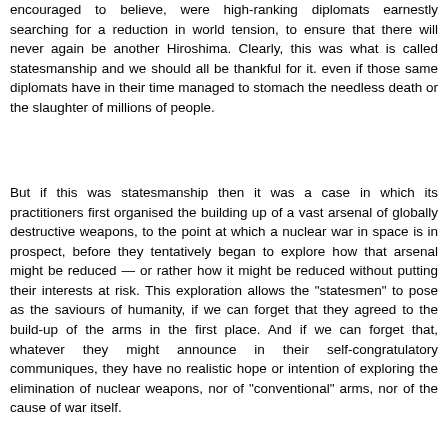encouraged to believe, were high-ranking diplomats earnestly searching for a reduction in world tension, to ensure that there will never again be another Hiroshima. Clearly, this was what is called statesmanship and we should all be thankful for it. even if those same diplomats have in their time managed to stomach the needless death or the slaughter of millions of people.
But if this was statesmanship then it was a case in which its practitioners first organised the building up of a vast arsenal of globally destructive weapons, to the point at which a nuclear war in space is in prospect, before they tentatively began to explore how that arsenal might be reduced — or rather how it might be reduced without putting their interests at risk. This exploration allows the "statesmen" to pose as the saviours of humanity, if we can forget that they agreed to the build-up of the arms in the first place. And if we can forget that, whatever they might announce in their self-congratulatory communiques, they have no realistic hope or intention of exploring the elimination of nuclear weapons, nor of "conventional" arms, nor of the cause of war itself.